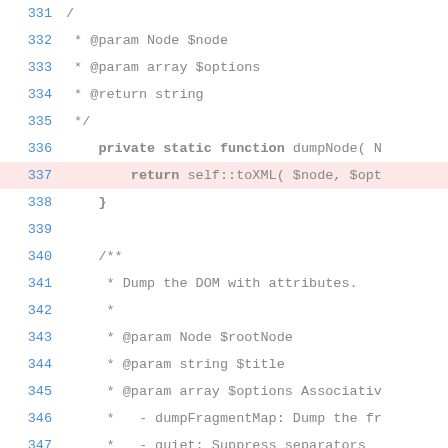331   /
332    * @param Node $node
333    * @param array $options
334    * @return string
335    */
336    private static function dumpNode( N
337        return self::toXML( $node, $opt
338    }
339
340    /**
341     * Dump the DOM with attributes.
342     *
343     * @param Node $rootNode
344     * @param string $title
345     * @param array $options Associativ
346     *   - dumpFragmentMap: Dump the fr
347     *   - quiet: Suppress separators
348     *
349  ▲  * storeDataAttribs options: